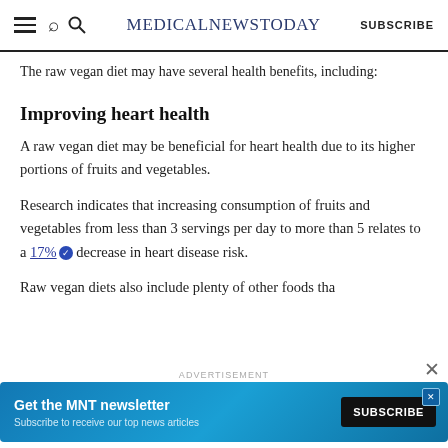MedicalNewsToday | SUBSCRIBE
The raw vegan diet may have several health benefits, including:
Improving heart health
A raw vegan diet may be beneficial for heart health due to its higher portions of fruits and vegetables.
Research indicates that increasing consumption of fruits and vegetables from less than 3 servings per day to more than 5 relates to a 17% decrease in heart disease risk.
Raw vegan diets also include plenty of other foods the
[Figure (screenshot): Advertisement banner: Get the MNT newsletter — Subscribe to receive our top news articles — SUBSCRIBE button with globe graphic]